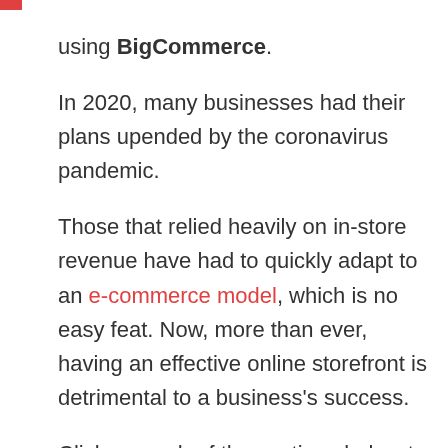using BigCommerce.
In 2020, many businesses had their plans upended by the coronavirus pandemic.
Those that relied heavily on in-store revenue have had to quickly adapt to an e-commerce model, which is no easy feat. Now, more than ever, having an effective online storefront is detrimental to a business’s success.
Click on each of the sections below to guide you through:
3 Steps to having a successful online store with